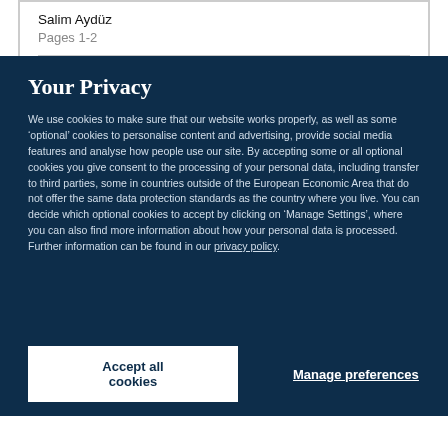Salim Aydüz
Pages 1-2
Your Privacy
We use cookies to make sure that our website works properly, as well as some ‘optional’ cookies to personalise content and advertising, provide social media features and analyse how people use our site. By accepting some or all optional cookies you give consent to the processing of your personal data, including transfer to third parties, some in countries outside of the European Economic Area that do not offer the same data protection standards as the country where you live. You can decide which optional cookies to accept by clicking on ‘Manage Settings’, where you can also find more information about how your personal data is processed. Further information can be found in our privacy policy.
Accept all cookies
Manage preferences